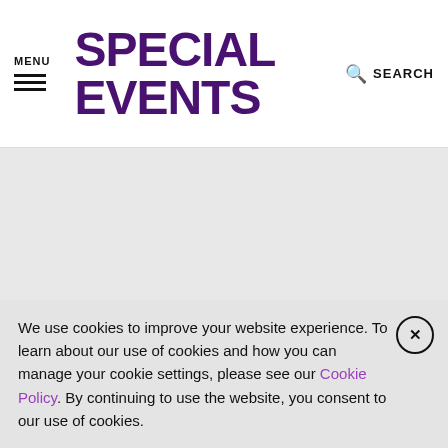MENU | SPECIAL EVENTS | SEARCH
[Figure (other): Gray advertisement/banner area]
SPECIAL EVENTS BLOG
RECENT
We use cookies to improve your website experience. To learn about our use of cookies and how you can manage your cookie settings, please see our Cookie Policy. By continuing to use the website, you consent to our use of cookies.